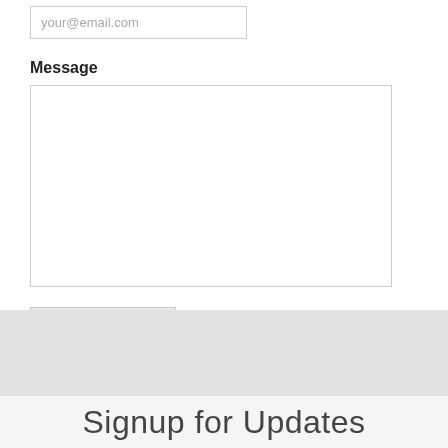your@email.com
Message
Post Comment!
Signup for Updates